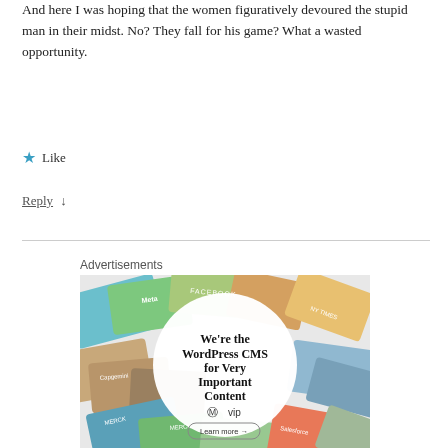And here I was hoping that the women figuratively devoured the stupid man in their midst. No? They fall for his game? What a wasted opportunity.
★ Like
Reply ↓
Advertisements
[Figure (illustration): Advertisement for WordPress VIP CMS. Shows a collage of colorful cards (Meta, Facebook, Merck, Capgemini, etc.) in the background with a white circle in the center containing text: We're the WordPress CMS for Very Important Content, WordPress VIP logo, and a Learn more → button.]